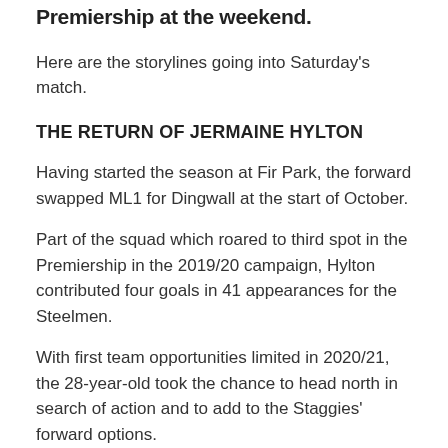Premiership at the weekend.
Here are the storylines going into Saturday's match.
THE RETURN OF JERMAINE HYLTON
Having started the season at Fir Park, the forward swapped ML1 for Dingwall at the start of October.
Part of the squad which roared to third spot in the Premiership in the 2019/20 campaign, Hylton contributed four goals in 41 appearances for the Steelmen.
With first team opportunities limited in 2020/21, the 28-year-old took the chance to head north in search of action and to add to the Staggies' forward options.
THE BACK AND FORTH OF RESULTS